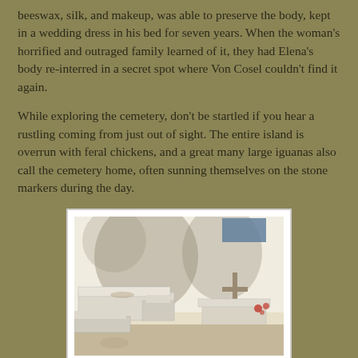beeswax, silk, and makeup, was able to preserve the body, kept in a wedding dress in his bed for seven years. When the woman's horrified and outraged family learned of it, they had Elena's body re-interred in a secret spot where Von Cosel couldn't find it again.
While exploring the cemetery, don't be startled if you hear a rustling coming from just out of sight. The entire island is overrun with feral chickens, and a great many large iguanas also call the cemetery home, often sunning themselves on the stone markers during the day.
[Figure (photo): Photograph of a cemetery showing white above-ground tombs and mausoleums with a cross visible on the right side, shadows on white walls, and some red flowers in the background.]